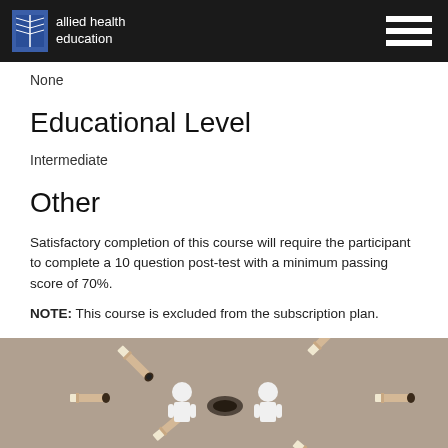allied health education
None
Educational Level
Intermediate
Other
Satisfactory completion of this course will require the participant to complete a 10 question post-test with a minimum passing score of 70%.
NOTE: This course is excluded from the subscription plan.
[Figure (photo): Photo of cigarette butts arranged around small white paper cutout figures of people on a beige/gray background]